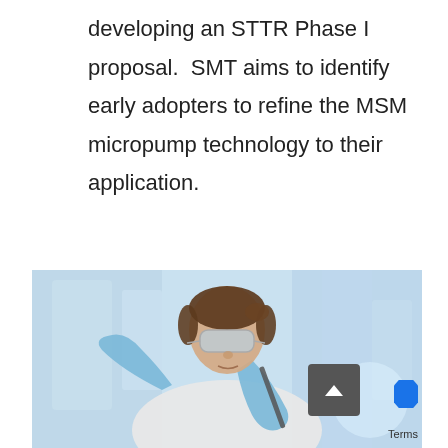developing an STTR Phase I proposal.  SMT aims to identify early adopters to refine the MSM micropump technology to their application.
[Figure (photo): A female scientist in a white lab coat, safety goggles, and blue latex gloves, working carefully with a pipette or instrument over a surface, in a bright laboratory environment with blurred background.]